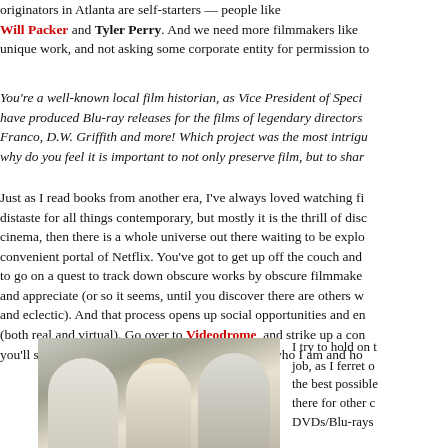originators in Atlanta are self-starters — people like Will Packer and Tyler Perry. And we need more filmmakers like unique work, and not asking some corporate entity for permission to
You're a well-known local film historian, as Vice President of Speci have produced Blu-ray releases for the films of legendary directors Franco, D.W. Griffith and more! Which project was the most intrigu why do you feel it is important to not only preserve film, but to shar
Just as I read books from another era, I've always loved watching fi distaste for all things contemporary, but mostly it is the thrill of disc cinema, then there is a whole universe out there waiting to be explo convenient portal of Netflix. You've got to get up off the couch and to go on a quest to track down obscure works by obscure filmmake and appreciate (or so it seems, until you discover there are others w and eclectic). And that process opens up social opportunities and en (both real and virtual). Go over to Videodrome and strike up a con you'll see what I mean. That's really a snapshot of who I am and ho
[Figure (photo): Three people in white/light clothing photographed from behind outdoors]
I try to hold on job, as I ferret o the best possible there for other c DVDs/Blu-rays